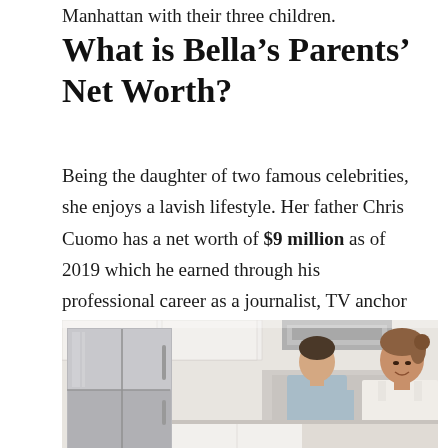Manhattan with their three children.
What is Bella’s Parents’ Net Worth?
Being the daughter of two famous celebrities, she enjoys a lavish lifestyle. Her father Chris Cuomo has a net worth of $9 million as of 2019 which he earned through his professional career as a journalist, TV anchor and lawyer. He receives an annual salary of $2.5 million.
[Figure (photo): A couple in a kitchen; a man in a light blue shirt stands near the stove and a woman with her hair up smiles at the camera, with a stainless steel refrigerator visible on the left.]